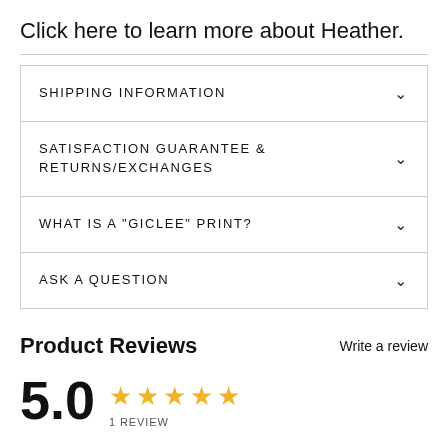Click here to learn more about Heather.
SHIPPING INFORMATION
SATISFACTION GUARANTEE & RETURNS/EXCHANGES
WHAT IS A "GICLEE" PRINT?
ASK A QUESTION
Product Reviews
Write a review
5.0
1 REVIEW